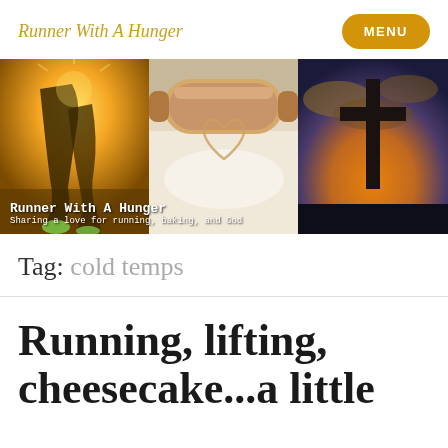Runner With A Hunger
[Figure (photo): Three-panel hero banner: left panel shows a runner's legs/shoes on pavement at golden hour; center panel shows a rolling pin on flour-dusted surface with a heart drawn in flour; right panel shows a cross silhouette against a dramatic sunset sky. Overlay text reads 'Runner With A Hunger / Sharing a love for running, baking, and God']
Tag: cold temps
Running, lifting, cheesecake...a little